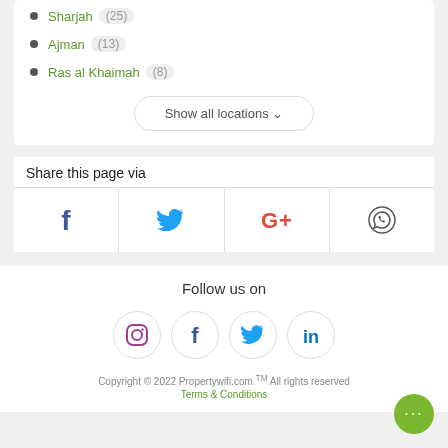Sharjah (25)
Ajman (13)
Ras al Khaimah (8)
Show all locations
Share this page via
[Figure (infographic): Social share buttons row: Facebook, Twitter, Google+, WhatsApp icons]
Follow us on
[Figure (infographic): Social media circle icons: Instagram, Facebook, Twitter, LinkedIn]
Copyright © 2022 Propertywifi.com™ All rights reserved Terms & Conditions